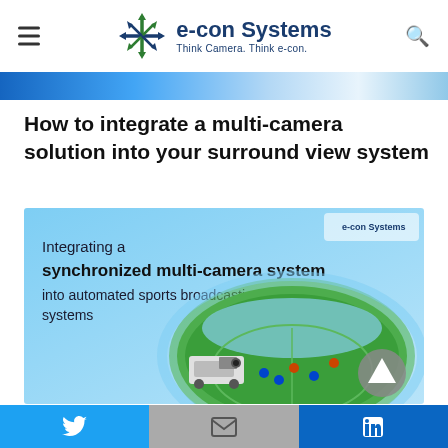e-con Systems — Think Camera. Think e-con.
How to integrate a multi-camera solution into your surround view system
[Figure (illustration): Promotional graphic showing 'Integrating a synchronized multi-camera system into automated sports broadcasting systems' with an illustration of a football stadium viewed from above with cameras and broadcast equipment, on a light blue background with e-con Systems branding.]
Twitter | Email | LinkedIn